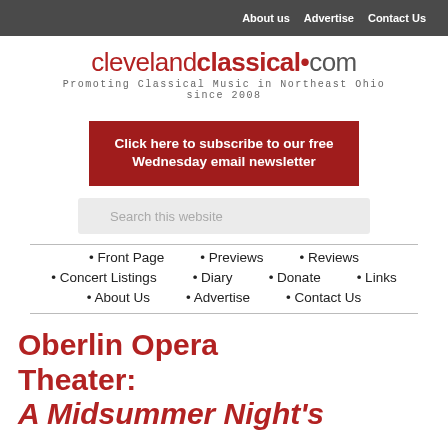About us   Advertise   Contact Us
[Figure (logo): clevelandclassical.com logo with tagline 'Promoting Classical Music in Northeast Ohio since 2008']
Click here to subscribe to our free Wednesday email newsletter
Search this website
• Front Page
• Previews
• Reviews
• Concert Listings
• Diary
• Donate
• Links
• About Us
• Advertise
• Contact Us
Oberlin Opera Theater: A Midsummer Night's